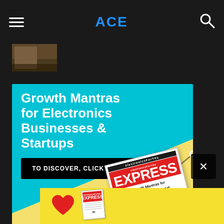ACE
[Figure (photo): Small thumbnail photo, partially visible, dark brownish tones]
[Figure (infographic): Advertisement banner for electronicsForYou EXPRESS magazine. Cyan/blue background with text 'Growth Mantras for Electronics Businesses & Startups', a black button 'TO DISCOVER, CLICK HERE', a line chart with dots, a yellow diagonal area, magazine cover mockup, and text 'Read electronics for you EXPRESS for FREE!']
[Figure (infographic): Bottom yellow strip with red heart icon and small magazine cover mockup]